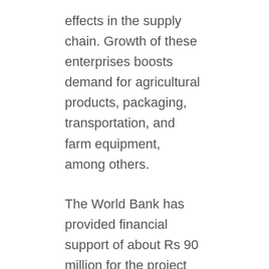effects in the supply chain. Growth of these enterprises boosts demand for agricultural products, packaging, transportation, and farm equipment, among others.
The World Bank has provided financial support of about Rs 90 million for the project via Project for Agriculture Commercialization and Trade (PACT).
Speaking at the inauguration ceremony, Minister of State Tamang said she was